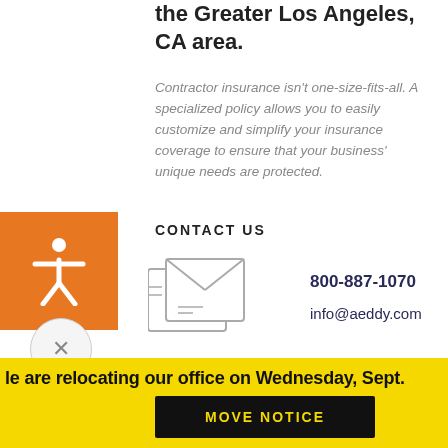the Greater Los Angeles, CA area.
Contractor insurance isn't one-size-fits-all. A specialized policy allows you to easily customize and simplify your insurance coverage to ensure that your business' unique needs are protected.
CONTACT US
[Figure (illustration): Envelope/mail icon with layered frames indicating contact]
800-887-1070
info@aeddy.com
We are relocating our office on Wednesday, Sept.
MOVE NOTICE